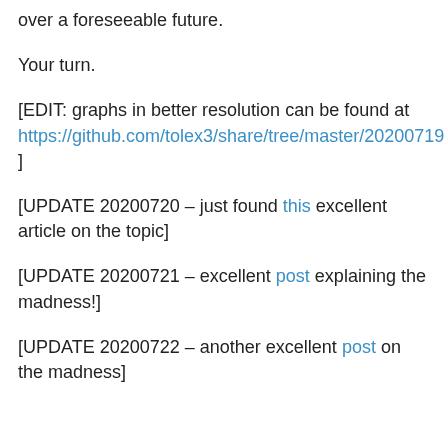over a foreseeable future.
Your turn.
[EDIT: graphs in better resolution can be found at https://github.com/tolex3/share/tree/master/20200719 ]
[UPDATE 20200720 – just found this excellent article on the topic]
[UPDATE 20200721 – excellent post explaining the madness!]
[UPDATE 20200722 – another excellent post on the madness]